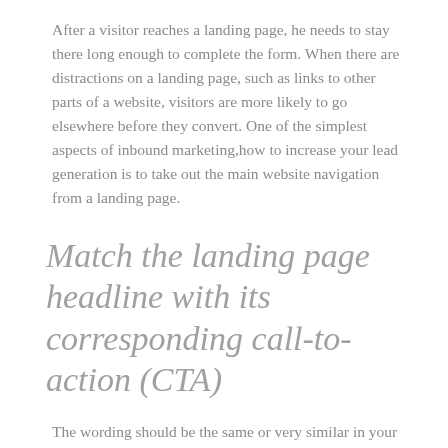After a visitor reaches a landing page, he needs to stay there long enough to complete the form. When there are distractions on a landing page, such as links to other parts of a website, visitors are more likely to go elsewhere before they convert. One of the simplest aspects of inbound marketing,how to increase your lead generation is to take out the main website navigation from a landing page.
Match the landing page headline with its corresponding call-to-action (CTA)
The wording should be the same or very similar in your